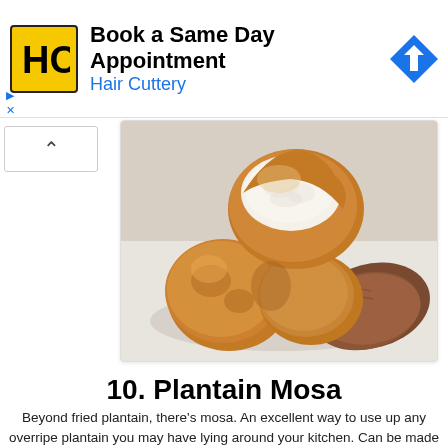[Figure (screenshot): Hair Cuttery advertisement banner with yellow logo, text 'Book a Same Day Appointment / Hair Cuttery', and blue diamond arrow icon]
[Figure (photo): Close-up photo of plantain mosa (fried plantain fritters), showing golden-brown fried balls with one broken open revealing white fluffy interior, held by a hand over a white surface]
10. Plantain Mosa
Beyond fried plantain, there's mosa. An excellent way to use up any overripe plantain you may have lying around your kitchen. Can be made sweet or savoury, depending on your mood. Click here for the recipe.